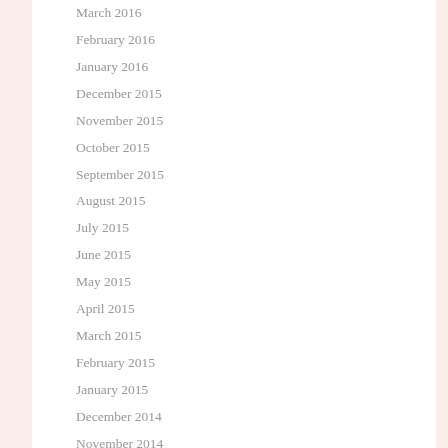March 2016
February 2016
January 2016
December 2015
November 2015
October 2015
September 2015
August 2015
July 2015
June 2015
May 2015
April 2015
March 2015
February 2015
January 2015
December 2014
November 2014
October 2014
September 2014